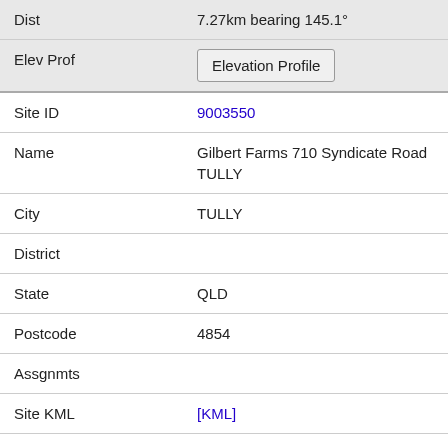| Dist | 7.27km bearing 145.1° |
| Elev Prof | [Elevation Profile button] |
| Site ID | 9003550 |
| Name | Gilbert Farms 710 Syndicate Road TULLY |
| City | TULLY |
| District |  |
| State | QLD |
| Postcode | 4854 |
| Assgnmts |  |
| Site KML | [KML] |
| HCIS Level 2 | LQ4P |
| Dist | 7.44km bearing 213.5° |
| Elev Prof | [Elevation Profile button] |
| Site ID | 10004224 |
| Name | Euramo Cnr Bruce HW and Rockingham Road Euramo |
| City | Euramo |